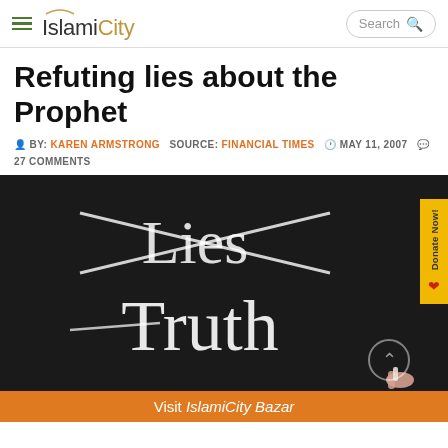IslamiCity | Search
Refuting lies about the Prophet
BY: KAREN ARMSTRONG   SOURCE: FINANCIAL TIMES   MAY 11, 2007   27 COMMENTS
[Figure (photo): Blackboard with 'Lies' crossed out and 'Truth' written in chalk below it, with a hand holding chalk]
Visit IslamiCity Bazar